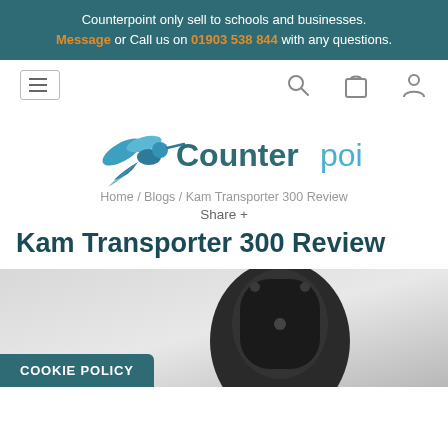Counterpoint only sell to schools and businesses. Message or Call us on 01903 538 844 with any questions.
[Figure (logo): Counterpoint logo with hummingbird and teal/blue wordmark]
Home / Blogs / Kam Transporter 300 Review
Share +
Kam Transporter 300 Review
[Figure (photo): Close-up photo of a black portable speaker (KAM Transporter 300) against a blurred grey background]
COOKIE POLICY